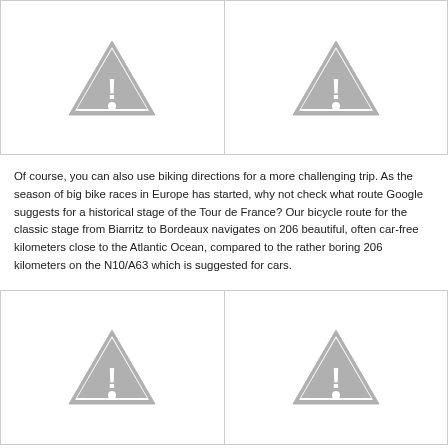[Figure (illustration): Two side-by-side image placeholder cells, each containing a grey warning/caution triangle icon with exclamation mark, arranged in a bordered two-column grid.]
Of course, you can also use biking directions for a more challenging trip. As the season of big bike races in Europe has started, why not check what route Google suggests for a historical stage of the Tour de France? Our bicycle route for the classic stage from Biarritz to Bordeaux navigates on 206 beautiful, often car-free kilometers close to the Atlantic Ocean, compared to the rather boring 206 kilometers on the N10/A63 which is suggested for cars.
[Figure (illustration): Two side-by-side image placeholder cells, each containing a grey warning/caution triangle icon with exclamation mark, arranged in a bordered two-column grid.]